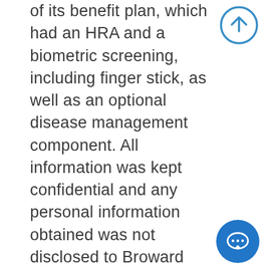of its benefit plan, which had an HRA and a biometric screening, including finger stick, as well as an optional disease management component. All information was kept confidential and any personal information obtained was not disclosed to Broward County officials and was reported only in aggregate form. Participation in the wellness program was not required for health coverage; however,
[Figure (illustration): Blue circle outline with an upward arrow icon, scroll-to-top button]
[Figure (illustration): Solid blue circle with a white chat/message bubble icon]